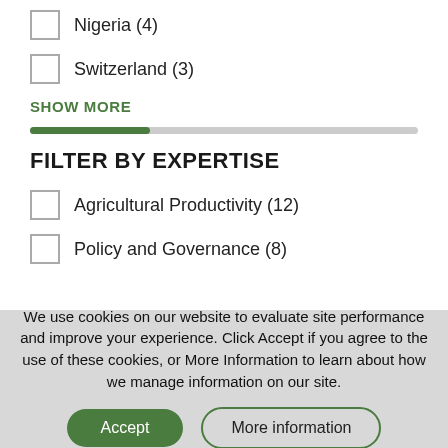Nigeria (4)
Switzerland (3)
SHOW MORE
FILTER BY EXPERTISE
Agricultural Productivity (12)
Policy and Governance (8)
We use cookies on our website to evaluate site performance and improve your experience. Click Accept if you agree to the use of these cookies, or More Information to learn about how we manage information on our site.